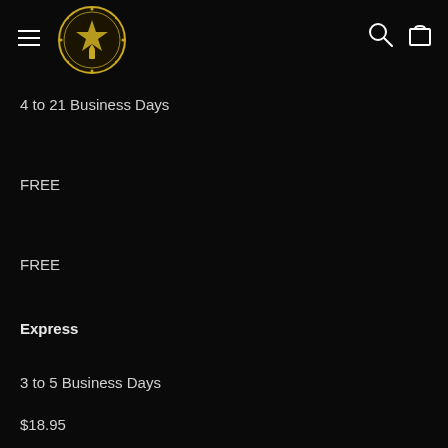Navigation header with hamburger menu, logo, search icon, and cart icon
4 to 21 Business Days
FREE
FREE
Express
3 to 5 Business Days
$18.95
FREE